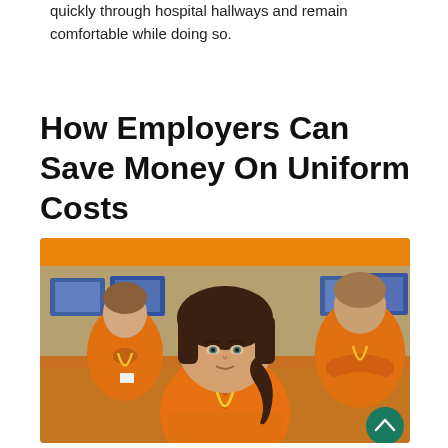quickly through hospital hallways and remain comfortable while doing so.
How Employers Can Save Money On Uniform Costs
[Figure (photo): Three retail workers wearing orange polo shirts and yellow lanyards standing in a store with electronics in the background. The central figure is a young woman with dark hair looking at the camera.]